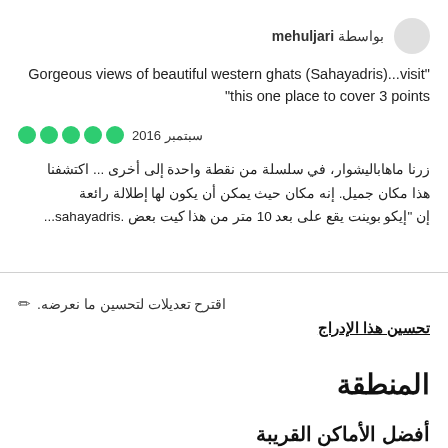بواسطة mehuljari
"Gorgeous views of beautiful western ghats (Sahayadris)...visit" "this one place to cover 3 points
●●●●● سبتمبر 2016
زرنا ماهاباليشوار، في سلسلة من نقطة واحدة إلى أخرى ... اكتشفنا هذا مكان جميل. إنه مكان حيث يمكن أن يكون لها إطلالة رائعة إن "إيكو بوينت يقع على بعد 10 متر من هذا كيت بعض .sahayadris...
🖊 اقترح تعديلات لتحسين ما نعرضه.
تحسين هذا الإدراج
المنطقة
أفضل الأماكن القريبة